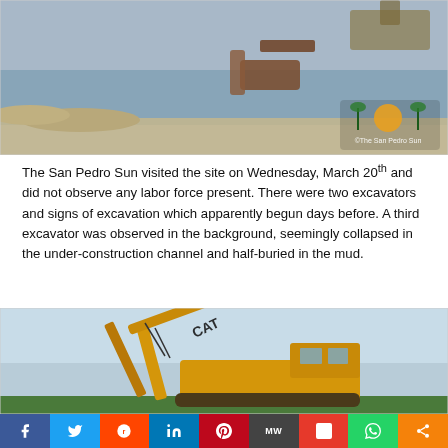[Figure (photo): Aerial or ground-level photo of a construction/excavation site near water, with machinery including an excavator submerged or collapsed in a muddy channel. San Pedro Sun watermark visible in lower right corner.]
The San Pedro Sun visited the site on Wednesday, March 20th and did not observe any labor force present. There were two excavators and signs of excavation which apparently begun days before. A third excavator was observed in the background, seemingly collapsed in the under-construction channel and half-buried in the mud.
[Figure (photo): Close-up photo of a yellow CAT excavator with its arm raised, set against a light blue sky with green vegetation visible in the background.]
[Figure (other): Social media sharing bar with buttons for Facebook, Twitter, Reddit, LinkedIn, Pinterest, MeWe, Mix, WhatsApp, and More sharing options.]